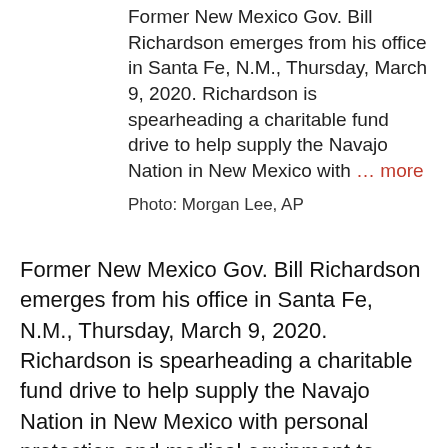Former New Mexico Gov. Bill Richardson emerges from his office in Santa Fe, N.M., Thursday, March 9, 2020. Richardson is spearheading a charitable fund drive to help supply the Navajo Nation in New Mexico with … more
Photo: Morgan Lee, AP
Former New Mexico Gov. Bill Richardson emerges from his office in Santa Fe, N.M., Thursday, March 9, 2020. Richardson is spearheading a charitable fund drive to help supply the Navajo Nation in New Mexico with personal protection and medical equipment to stem the spread of the coronavirus in cooperation with Molina Healthcare and the New Mexico Children's Foundation. Infections have surged on the Navajo Nation where there is limited access to everything from intensive care beds to surgical masks